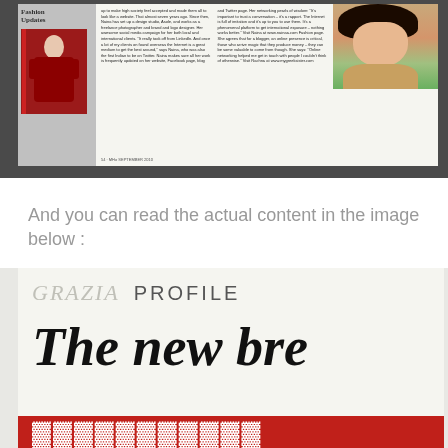[Figure (photo): Photograph of an open magazine spread showing a fashion/lifestyle article with a woman's portrait, a red dress image on the left column, and text columns. The magazine page shows 'Fashion Updates' header and article text.]
And you can read the actual content in the image below :
[Figure (photo): Close-up photograph of a Grazia magazine page showing the 'GRAZIA PROFILE' header and the beginning of a headline reading 'The new bre...' in large italic serif font, with a red banner at the bottom.]